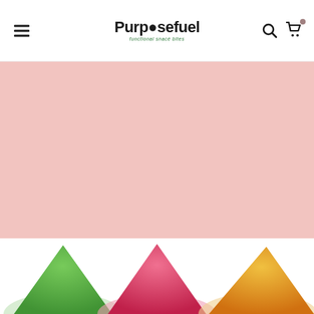Purposefuel – functional snack bites. Navigation header with menu, logo, search, and cart icons.
[Figure (photo): Large pink/blush background banner section, likely a hero image area.]
[Figure (photo): Bottom section showing colorful product packages in green, pink/magenta, and orange/yellow colors, partially cropped at page bottom.]